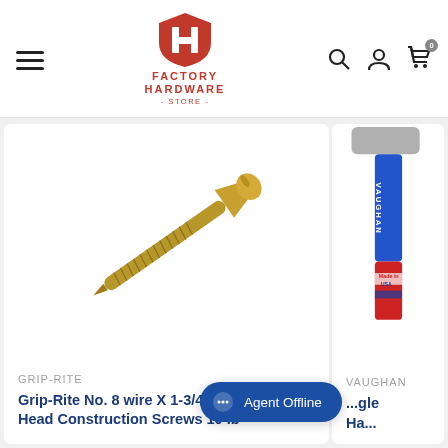[Figure (logo): Factory Hardware Store logo — red shield with white H, red text FACTORY HARDWARE - STORE -]
[Figure (photo): Grip-Rite No. 8 wire X 1-3/4 in. L Star Bugle Head Construction Screw — gold/brass colored screw shown diagonally on white background]
GRIP-RITE
Grip-Rite No. 8 wire X 1-3/4 in. L Star Bugle Head Construction Screws 10 lb
[Figure (photo): Vaughan hammer with blue and red/white handle visible on right side, partially cropped]
VAUGHAN
Agent Offline